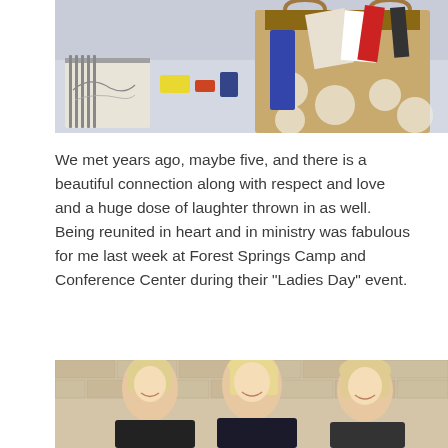[Figure (photo): Top portion of a photo showing a table with craft/art supplies, a spiral notebook, and a large tan/brown polka-dot tote bag with various items inside, against a light blue/lavender tablecloth background.]
We met years ago, maybe five, and there is a beautiful connection along with respect and love and a huge dose of laughter thrown in as well. Being reunited in heart and in ministry was fabulous for me last week at Forest Springs Camp and Conference Center during their “Ladies Day” event.
[Figure (photo): Bottom portion of a photo showing three smiling women with blonde/light hair standing in front of a light-colored brick wall.]